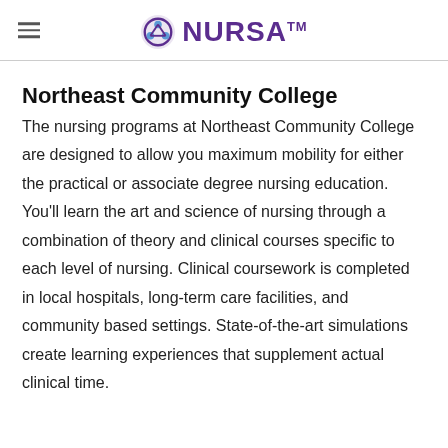NURSA™
Northeast Community College
The nursing programs at Northeast Community College are designed to allow you maximum mobility for either the practical or associate degree nursing education. You'll learn the art and science of nursing through a combination of theory and clinical courses specific to each level of nursing. Clinical coursework is completed in local hospitals, long-term care facilities, and community based settings. State-of-the-art simulations create learning experiences that supplement actual clinical time.